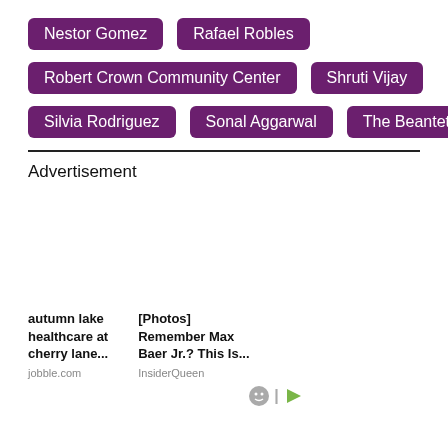Nestor Gomez
Rafael Robles
Robert Crown Community Center
Shruti Vijay
Silvia Rodriguez
Sonal Aggarwal
The Beantet
Advertisement
autumn lake healthcare at cherry lane...
jobble.com
[Photos] Remember Max Baer Jr.? This Is...
InsiderQueen